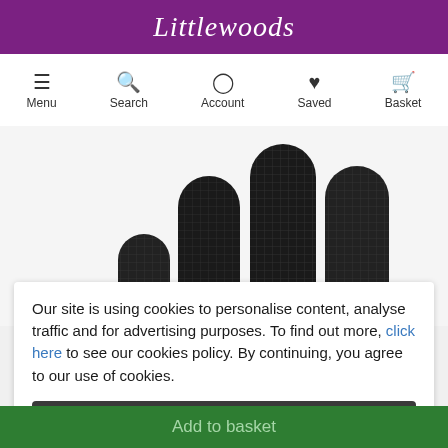Littlewoods
[Figure (screenshot): Navigation bar with icons for Menu, Search, Account, Saved, Basket]
[Figure (photo): Close-up photo of black textured glove fingers against white background]
Our site is using cookies to personalise content, analyse traffic and for advertising purposes. To find out more, click here to see our cookies policy. By continuing, you agree to our use of cookies.
I agree
Add to basket